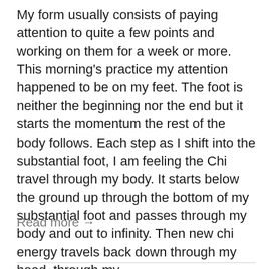My form usually consists of paying attention to quite a few points and working on them for a week or more. This morning's practice my attention happened to be on my feet. The foot is neither the beginning nor the end but it starts the momentum the rest of the body follows. Each step as I shift into the substantial foot, I am feeling the Chi travel through my body. It starts below the ground up through the bottom of my substantial foot and passes through my body and out to infinity. Then new chi energy travels back down through my head, through my...
Read more →